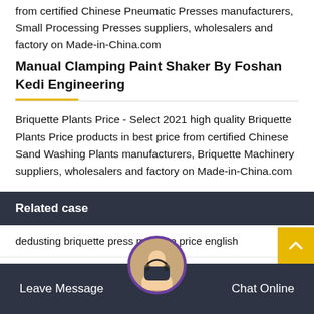from certified Chinese Pneumatic Presses manufacturers, Small Processing Presses suppliers, wholesalers and factory on Made-in-China.com
Manual Clamping Paint Shaker By Foshan Kedi Engineering
Briquette Plants Price - Select 2021 high quality Briquette Plants Price products in best price from certified Chinese Sand Washing Plants manufacturers, Briquette Machinery suppliers, wholesalers and factory on Made-in-China.com
Related case
dedusting briquette press machine price english
metallic powder briquette machine price whirlpool
small high pressure roller briquetting machine in kigali
Leave Message   Chat Online